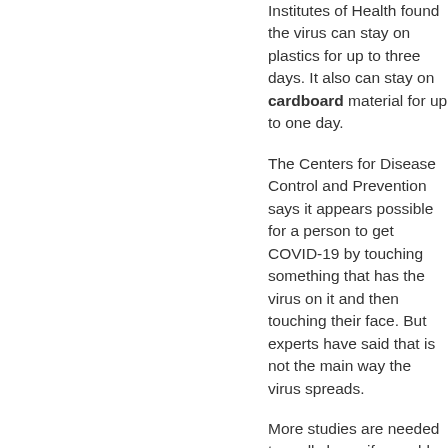Institutes of Health found the virus can stay on plastics for up to three days. It also can stay on cardboard material for up to one day.
The Centers for Disease Control and Prevention says it appears possible for a person to get COVID-19 by touching something that has the virus on it and then touching their face. But experts have said that is not the main way the virus spreads.
More studies are needed to really know if reusable bags are in fact dangerous, says Dr. Jennifer Vines. She is the lead health official for Portland, Oregon.
Vines said that currently, it is not clear whether a virus found on a surface...